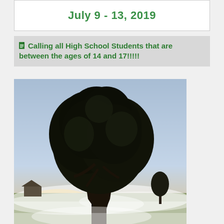July 9 - 13, 2019
Calling all High School Students that are between the ages of 14 and 17!!!!!
[Figure (photo): A large tree silhouetted against a misty sunrise sky, with fog rolling across a field and a small structure visible in the background.]